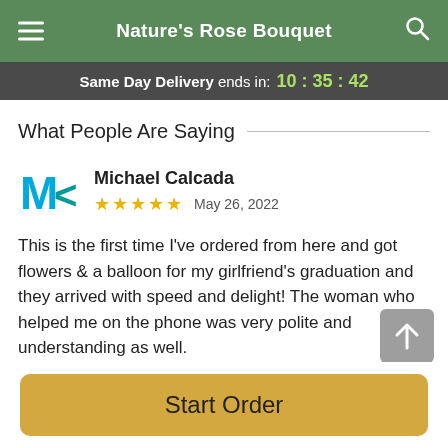Nature's Rose Bouquet
Same Day Delivery ends in: 10:35:42
What People Are Saying
Michael Calcada
★ ★ ★ ★ ★   May 26, 2022
This is the first time I've ordered from here and got flowers & a balloon for my girlfriend's graduation and they arrived with speed and delight! The woman who helped me on the phone was very polite and understanding as well.
Start Order